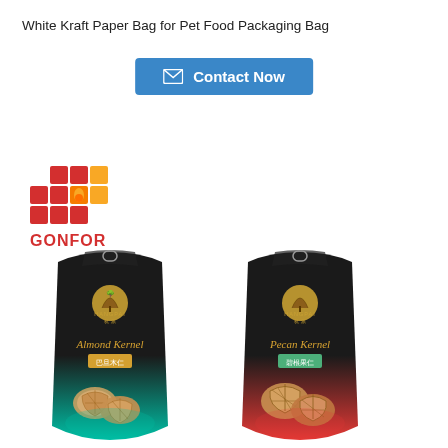White Kraft Paper Bag for Pet Food Packaging Bag
Contact Now
[Figure (logo): GONFOR company logo with red and yellow geometric grid squares forming a stylized G shape]
[Figure (photo): Two black stand-up pouches with zipper and hang hole: left bag is Almond Kernel (巴旦木仁) with teal/mint bottom, right bag is Pecan Kernel (碧根果仁) with red bottom, both featuring the Hangpai brand logo with tree motif]